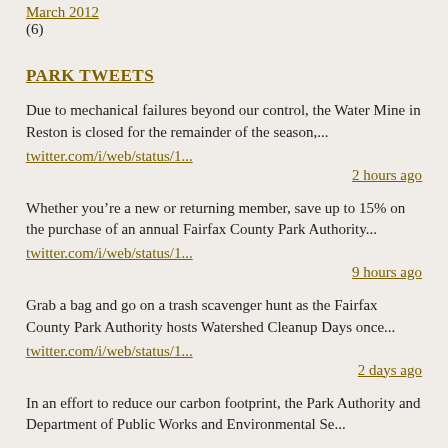March 2012 (6)
PARK TWEETS
Due to mechanical failures beyond our control, the Water Mine in Reston is closed for the remainder of the season,...
twitter.com/i/web/status/1...
2 hours ago
Whether you're a new or returning member, save up to 15% on the purchase of an annual Fairfax County Park Authority...
twitter.com/i/web/status/1...
9 hours ago
Grab a bag and go on a trash scavenger hunt as the Fairfax County Park Authority hosts Watershed Cleanup Days once...
twitter.com/i/web/status/1...
2 days ago
In an effort to reduce our carbon footprint, the Park Authority and Department of Public Works and Environmental Se...